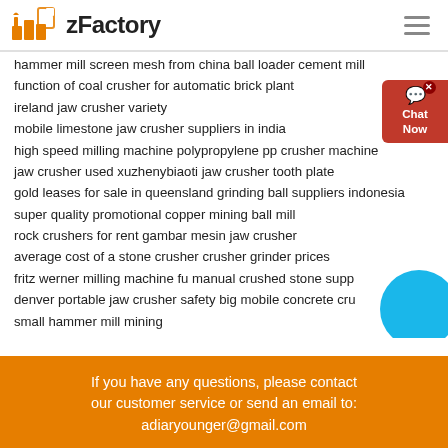zFactory
hammer mill screen mesh from china ball loader cement mill
function of coal crusher for automatic brick plant
ireland jaw crusher variety
mobile limestone jaw crusher suppliers in india
high speed milling machine polypropylene pp crusher machine
jaw crusher used xuzhenybiaoti jaw crusher tooth plate
gold leases for sale in queensland grinding ball suppliers indonesia
super quality promotional copper mining ball mill
rock crushers for rent gambar mesin jaw crusher
average cost of a stone crusher crusher grinder prices
fritz werner milling machine fu manual crushed stone supp…
denver portable jaw crusher safety big mobile concrete cru…
small hammer mill mining
If you have any questions, please contact our customer service or send an email to: adiaryounger@gmail.com